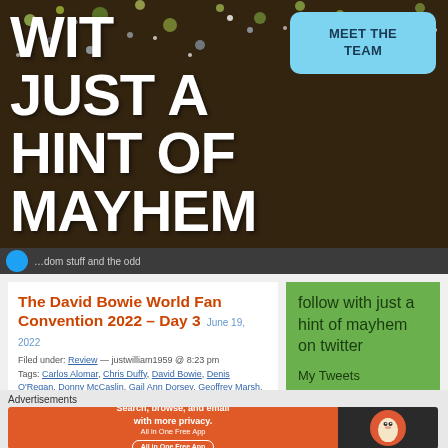[Figure (screenshot): Hero banner with dark brown background showing sparkles/lights and large white bold text reading WITH JUST A HINT OF MAYHEM, with a light blue MEET THE TEAM button in top right]
WITH JUST A HINT OF MAYHEM
MEET THE TEAM
...dom stuff and the odd
The David Bowie World Fan Convention 2022 – Day 3  June 19, 2022
Filed under: Review — justwilliam1959 @ 8:23 pm
Tags: Carlos Alomar, Chris Duffy, David Bowie, Denis O'Regan, Donny McCaslin, Gail Ann Dorsey, Geoffrey Marsh, John Cambridge, Jonathan Barnbrook, Kevin Cann, Nicholas Pegg, Phillipe Auliac, Robin Clark, The
follow with just a hint of mayhem on twitter
My Tweets
Advertisements
[Figure (screenshot): DuckDuckGo advertisement banner: orange left side reading 'Search, browse, and email with more privacy. All in One Free App', dark right side with DuckDuckGo duck logo]